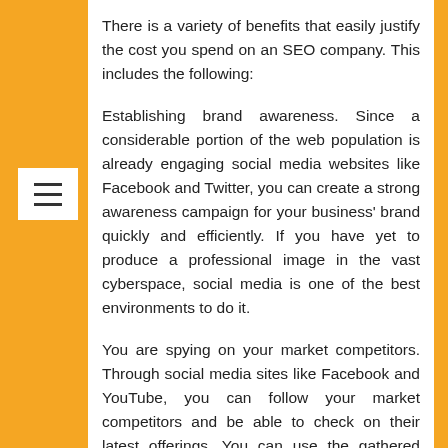There is a variety of benefits that easily justify the cost you spend on an SEO company. This includes the following:
Establishing brand awareness. Since a considerable portion of the web population is already engaging social media websites like Facebook and Twitter, you can create a strong awareness campaign for your business' brand quickly and efficiently. If you have yet to produce a professional image in the vast cyberspace, social media is one of the best environments to do it.
You are spying on your market competitors. Through social media sites like Facebook and YouTube, you can follow your market competitors and be able to check on their latest offerings. You can use the gathered data to offer a better and